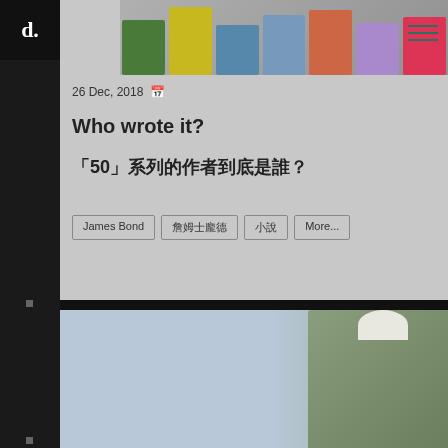[Figure (screenshot): Website screenshot of a media/blog site with logo 'd.' in top-left, navigation hamburger icon, article card with date '26 Dec, 2018', title 'Who wrote it?', subtitle in Chinese characters starting with '50', and tags including 'James Bond', Chinese tags, and 'More...' Below is a second article card showing a figure in a coat, with an ad banner overlay reading '2022 INSIDE' event with Chinese text '台灣的蛻變']
d.
26 Dec, 2018
Who wrote it?
「50」系列的作者到底是誰？
James Bond
More...
[Figure (photo): Photo of a person in an olive/khaki colored coat, partially visible]
[Figure (screenshot): Advertisement banner for 2022 INSIDE event - 台灣的蛻變 (Taiwan's transformation), with red INSIDE badge, Chinese text, date info, and yellow registration button]